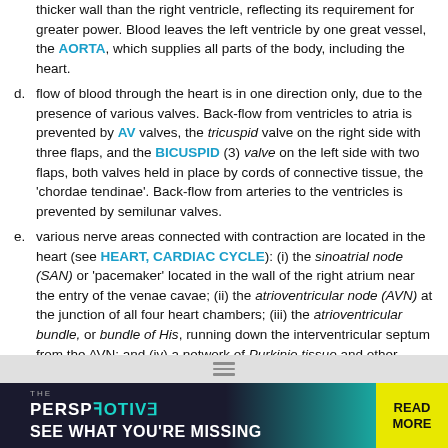thicker wall than the right ventricle, reflecting its requirement for greater power. Blood leaves the left ventricle by one great vessel, the AORTA, which supplies all parts of the body, including the heart.
d. flow of blood through the heart is in one direction only, due to the presence of various valves. Back-flow from ventricles to atria is prevented by AV valves, the tricuspid valve on the right side with three flaps, and the BICUSPID (3) valve on the left side with two flaps, both valves held in place by cords of connective tissue, the 'chordae tendinae'. Back-flow from arteries to the ventricles is prevented by semilunar valves.
e. various nerve areas connected with contraction are located in the heart (see HEART, CARDIAC CYCLE): (i) the sinoatrial node (SAN) or 'pacemaker' located in the wall of the right atrium near the entry of the venae cavae; (ii) the atrioventricular node (AVN) at the junction of all four heart chambers; (iii) the atrioventricular bundle, or bundle of His, running down the interventricular septum from the AVN; and (iv) a network of Purkinje tissue and other fibres spreading out from the bundle of His across the walls of both ventricles. See Fig. 189 .
[Figure (infographic): Advertisement banner: 'THE PERSPECTIVE — SEE WHAT YOU'RE MISSING' with READ MORE button in yellow]